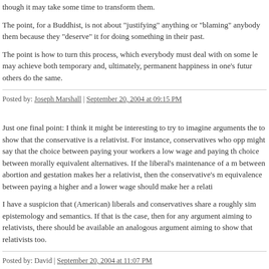though it may take some time to transform them.
The point, for a Buddhist, is not about "justifying" anything or "blaming" anybody them because they "deserve" it for doing something in their past.
The point is how to turn this process, which everybody must deal with on some le may achieve both temporary and, ultimately, permanent happiness in one's futur others do the same.
Posted by: Joseph Marshall | September 20, 2004 at 09:15 PM
Just one final point: I think it might be interesting to try to imagine arguments the to show that the conservative is a relativist. For instance, conservatives who opp might say that the choice between paying your workers a low wage and paying th choice between morally equivalent alternatives. If the liberal's maintenance of a m between abortion and gestation makes her a relativist, then the conservative's m equivalence between paying a higher and a lower wage should make her a relati
I have a suspicion that (American) liberals and conservatives share a roughly sim epistemology and semantics. If that is the case, then for any argument aiming to relativists, there should be available an analogous argument aiming to show that relativists too.
Posted by: David | September 20, 2004 at 11:07 PM
The comments to this entry are closed.